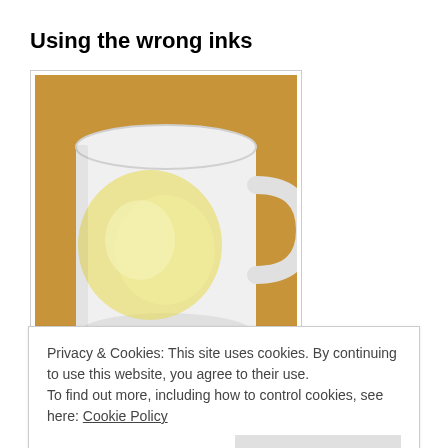Using the wrong inks
[Figure (photo): A white ceramic mug with a faded yellow sublimation print on a wooden surface background]
If you accidentally installed the OEM inks that came with your printer instead of sublimation
Privacy & Cookies: This site uses cookies. By continuing to use this website, you agree to their use.
To find out more, including how to control cookies, see here: Cookie Policy
100% polyester clothing, bags, ceramic mugs,